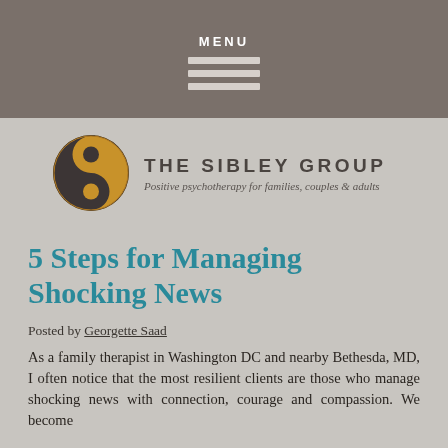MENU
[Figure (logo): The Sibley Group logo — yin-yang style circle in gold and dark grey, with text 'THE SIBLEY GROUP' and tagline 'Positive psychotherapy for families, couples & adults']
5 Steps for Managing Shocking News
Posted by Georgette Saad
As a family therapist in Washington DC and nearby Bethesda, MD, I often notice that the most resilient clients are those who manage shocking news with connection, courage and compassion. We become